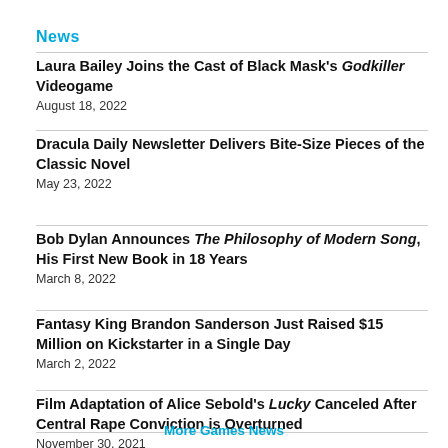News
Laura Bailey Joins the Cast of Black Mask's Godkiller Videogame
August 18, 2022
Dracula Daily Newsletter Delivers Bite-Size Pieces of the Classic Novel
May 23, 2022
Bob Dylan Announces The Philosophy of Modern Song, His First New Book in 18 Years
March 8, 2022
Fantasy King Brandon Sanderson Just Raised $15 Million on Kickstarter in a Single Day
March 2, 2022
Film Adaptation of Alice Sebold's Lucky Canceled After Central Rape Conviction is Overturned
November 30, 2021
More Games News